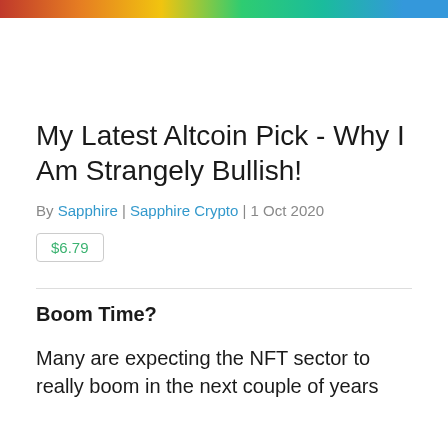[Figure (photo): Colorful banner photo strip at top of page]
My Latest Altcoin Pick - Why I Am Strangely Bullish!
By Sapphire | Sapphire Crypto | 1 Oct 2020
$6.79
Boom Time?
Many are expecting the NFT sector to really boom in the next couple of years